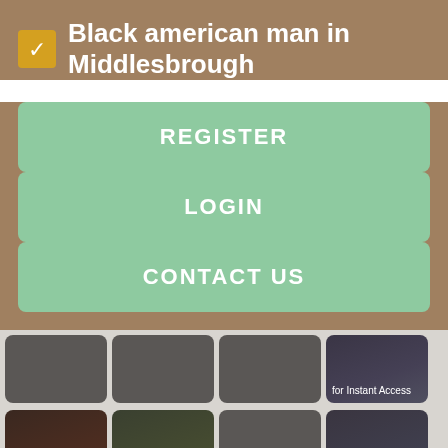Black american man in Middlesbrough
REGISTER
LOGIN
CONTACT US
[Figure (screenshot): Grid of profile photo thumbnails with 'Register NOW for Instant Access' overlays on a dating/social app interface]
[Figure (screenshot): Second row of profile photo thumbnails with 'Register NOW for Instant Access' text overlays]
[Figure (screenshot): Partial third row of profile thumbnails]